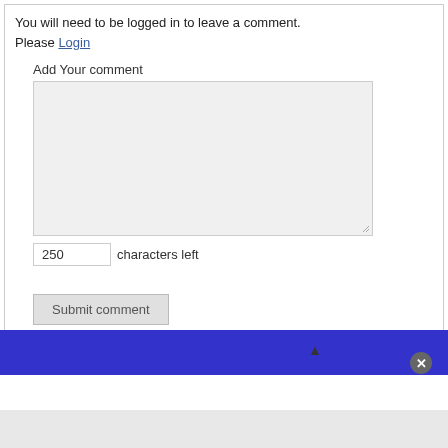You will need to be logged in to leave a comment.
Please Login
Add Your comment
[Figure (screenshot): Empty text area input box with light gray background for user comment input, with resize handle at bottom right]
250 characters left
[Figure (screenshot): Submit comment button, grayed out]
The posting of advertisements, profanity, or personal attacks is prohibited. Click here to review our Terms of Use.
[Figure (screenshot): Blue banner bar at bottom of comment section with close (x) button overlay]